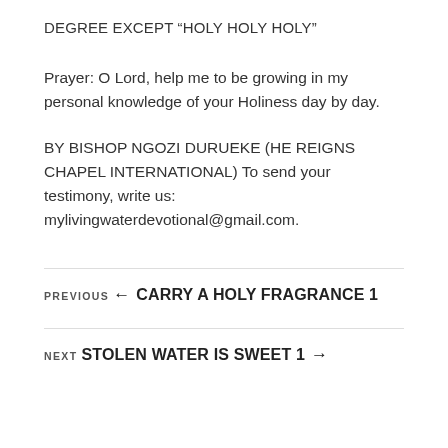DEGREE EXCEPT “HOLY HOLY HOLY”
Prayer: O Lord, help me to be growing in my personal knowledge of your Holiness day by day.
BY BISHOP NGOZI DURUEKE (HE REIGNS CHAPEL INTERNATIONAL) To send your testimony, write us: mylivingwaterdevotional@gmail.com.
PREVIOUS
← CARRY A HOLY FRAGRANCE 1
NEXT
STOLEN WATER IS SWEET 1 →